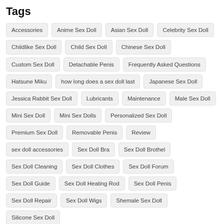Tags
Accessories
Anime Sex Doll
Asian Sex Doll
Celebrity Sex Doll
Childlike Sex Doll
Child Sex Doll
Chinese Sex Doll
Custom Sex Doll
Detachable Penis
Frequently Asked Questions
Hatsune Miku
how long does a sex doll last
Japanese Sex Doll
Jessica Rabbit Sex Doll
Lubricants
Maintenance
Male Sex Doll
Mini Sex Doll
Mini Sex Dolls
Personalized Sex Doll
Premium Sex Doll
Removable Penis
Review
sex doll accessories
Sex Doll Bra
Sex Doll Brothel
Sex Doll Cleaning
Sex Doll Clothes
Sex Doll Forum
Sex Doll Guide
Sex Doll Heating Rod
Sex Doll Penis
Sex Doll Repair
Sex Doll Wigs
Shemale Sex Doll
Silicone Sex Doll